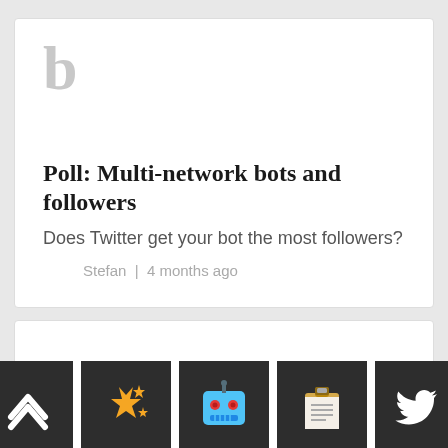[Figure (logo): Large bold letter 'b' in light grey, serif font, acting as a site logo]
Poll: Multi-network bots and followers
Does Twitter get your bot the most followers?
Stefan | 4 months ago
[Figure (infographic): Row of five dark square icon buttons: up-arrow chevron, sparkles/stars emoji, robot face emoji, clipboard icon, Twitter bird icon]